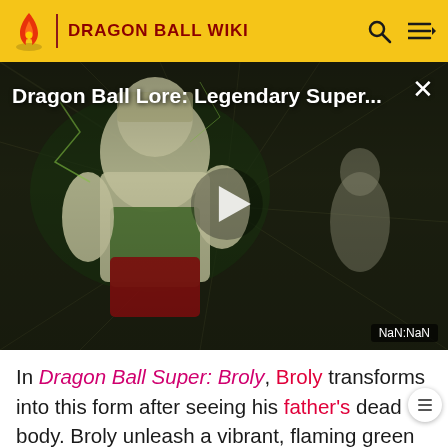DRAGON BALL WIKI
[Figure (screenshot): Video thumbnail showing Dragon Ball Lore: Legendary Super... with anime artwork of Broly, a muscular Saiyan character, with a play button in the center. Timestamp shows NaN:NaN.]
In Dragon Ball Super: Broly, Broly transforms into this form after seeing his father's dead body. Broly unleash a vibrant, flaming green aura. His energy is capable of causing the atmosphere to violently shift colors. Right before transforming, his sclera flash red and his pupils